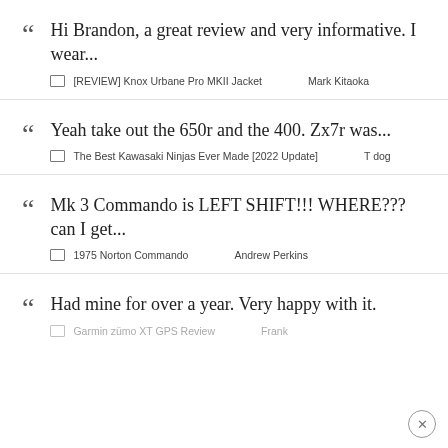Hi Brandon, a great review and very informative. I wear...
Yeah take out the 650r and the 400. Zx7r was...
Mk 3 Commando is LEFT SHIFT!!! WHERE??? can I get...
Had mine for over a year. Very happy with it.